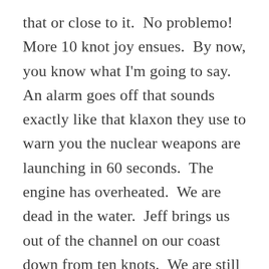that or close to it.  No problemo!  More 10 knot joy ensues.  By now, you know what I'm going to say.  An alarm goes off that sounds exactly like that klaxon they use to warn you the nuclear weapons are launching in 60 seconds.  The engine has overheated.  We are dead in the water.  Jeff brings us out of the channel on our coast down from ten knots.  We are still moving down the bay at 2–2.5 on the strong current exactly parallel to the channel.  I man the helm (which is kind of superfluous with no steerage, but I can at least be supper aware of when we would